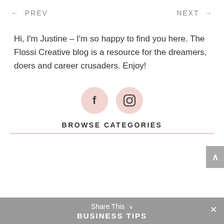← PREV   NEXT →
Hi, I'm Justine – I'm so happy to find you here. The Flossi Creative blog is a resource for the dreamers, doers and career crusaders. Enjoy!
[Figure (illustration): Two circular pink social media icons: Facebook (f) and Instagram (camera) side by side]
BROWSE CATEGORIES
Share This ∨  BUSINESS TIPS  ×